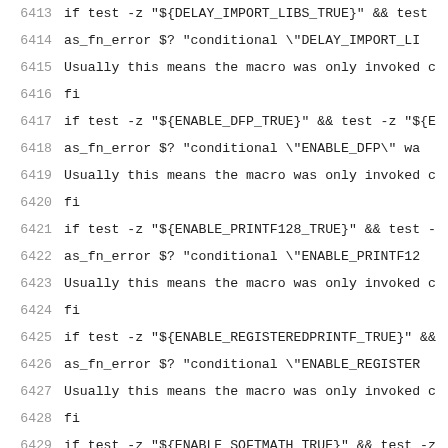6413  if test -z "${DELAY_IMPORT_LIBS_TRUE}" && test
6414    as_fn_error $? "conditional \"DELAY_IMPORT_LI
6415  Usually this means the macro was only invoked c
6416  fi
6417  if test -z "${ENABLE_DFP_TRUE}" && test -z "${E
6418    as_fn_error $? "conditional \"ENABLE_DFP\" wa
6419  Usually this means the macro was only invoked c
6420  fi
6421  if test -z "${ENABLE_PRINTF128_TRUE}" && test -
6422    as_fn_error $? "conditional \"ENABLE_PRINTF12
6423  Usually this means the macro was only invoked c
6424  fi
6425  if test -z "${ENABLE_REGISTEREDPRINTF_TRUE}" &&
6426    as_fn_error $? "conditional \"ENABLE_REGISTER
6427  Usually this means the macro was only invoked c
6428  fi
6429  if test -z "${ENABLE_SOFTMATH_TRUE}" && test -z
6430    as_fn_error $? "conditional \"ENABLE_SOFTMATH
6431  Usually this means the macro was only invoked c
6432  fi
6433  if test -z "${ENABLE_TESTS_UNICODE_TRUE}" && te